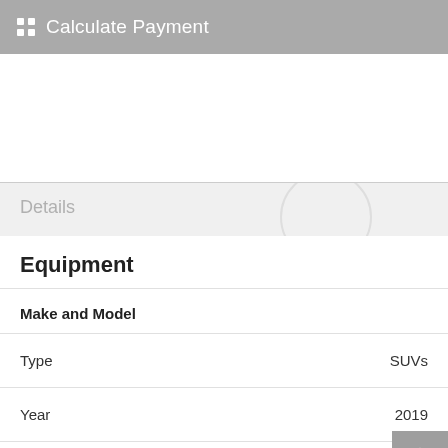Calculate Payment
Details
Equipment
Make and Model
| Field | Value |
| --- | --- |
| Type | SUVs |
| Year | 2019 |
| Make | Kia |